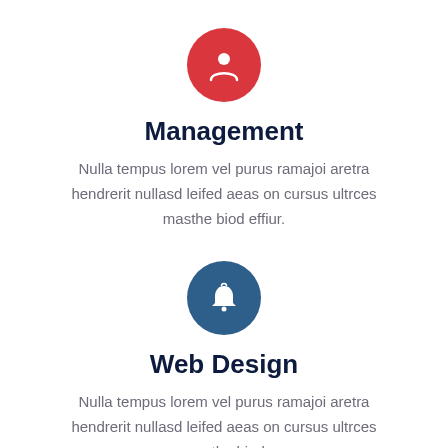[Figure (illustration): Red circle icon with a white person/user silhouette]
Management
Nulla tempus lorem vel purus ramajoi aretra hendrerit nullasd leifed aeas on cursus ultrces masthe biod effiur.
[Figure (illustration): Dark blue circle icon with a white bell/notification silhouette]
Web Design
Nulla tempus lorem vel purus ramajoi aretra hendrerit nullasd leifed aeas on cursus ultrces masthe biod